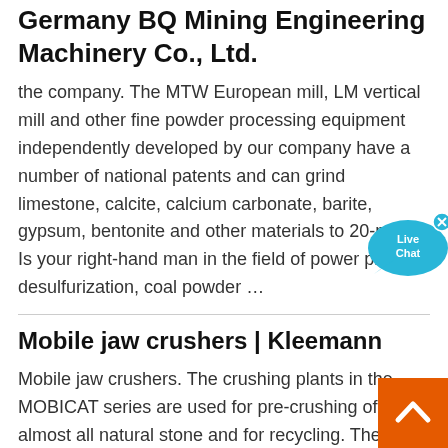Germany BQ Mining Engineering Machinery Co., Ltd.
the company. The MTW European mill, LM vertical mill and other fine powder processing equipment independently developed by our company have a number of national patents and can grind limestone, calcite, calcium carbonate, barite, gypsum, bentonite and other materials to 20-mesh, Is your right-hand man in the field of power plant desulfurization, coal powder …
[Figure (infographic): Live Chat speech bubble widget in cyan/light blue color with white text saying 'Live Chat' and a close (x) button in the top right corner]
Mobile jaw crushers | Kleemann
Mobile jaw crushers. The crushing plants in the MOBICAT series are used for pre-crushing of almost all natural stone and for recycling. The output of the MOBICAT crushing plants, however, is not determined by the jaw crusher alone,
[Figure (infographic): Orange square button with white upward chevron arrow (back to top button) in the bottom right corner]